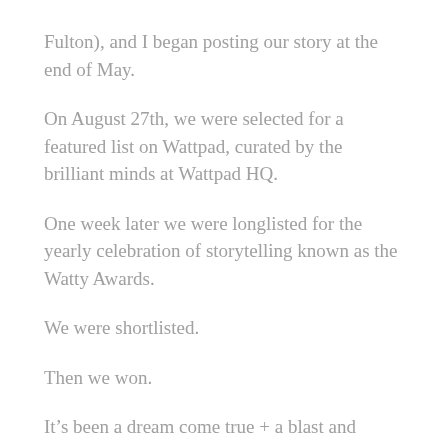Fulton), and I began posting our story at the end of May.
On August 27th, we were selected for a featured list on Wattpad, curated by the brilliant minds at Wattpad HQ.
One week later we were longlisted for the yearly celebration of storytelling known as the Watty Awards.
We were shortlisted.
Then we won.
It’s been a dream come true + a blast and there’s more to come.
But it didn’t happen by magic. (Okay, maybe a little